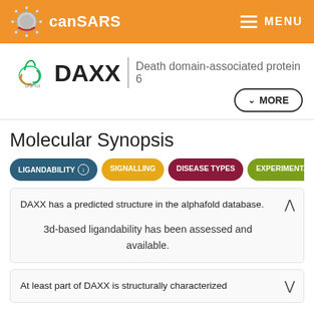canSARS  MENU
DAXX  Death domain-associated protein 6
Molecular Synopsis
LIGANDABILITY  SIGNALLING  DISEASE TYPES  EXPERIMENTAL
DAXX has a predicted structure in the alphafold database.

3d-based ligandability has been assessed and available.
At least part of DAXX is structurally characterized